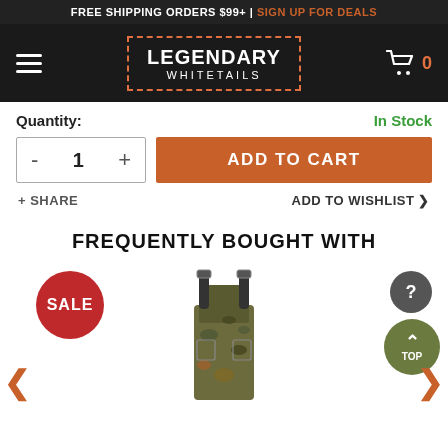FREE SHIPPING ORDERS $99+ | SIGN UP FOR DEALS
[Figure (logo): Legendary Whitetails logo in orange dashed border box, navigation bar with hamburger menu and cart icon showing 0 items]
Quantity: In Stock
- 1 + ADD TO CART
+ SHARE   ADD TO WISHLIST >
FREQUENTLY BOUGHT WITH
[Figure (photo): Product image of camouflage bib overalls with SALE badge. Navigation arrows for carousel. Help (?) badge and TOP scroll-to-top button on the right side.]